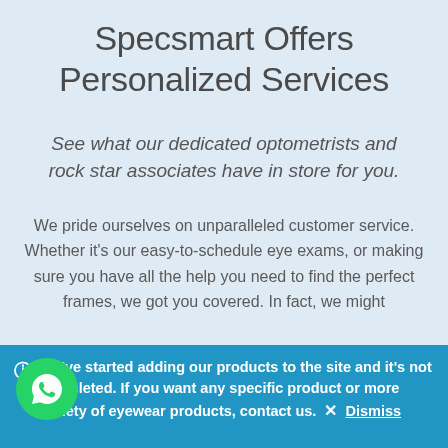Specsmart Offers Personalized Services
See what our dedicated optometrists and rock star associates have in store for you.
We pride ourselves on unparalleled customer service. Whether it's our easy-to-schedule eye exams, or making sure you have all the help you need to find the perfect frames, we got you covered. In fact, we might
We've started adding our products to the site and it's not completed. If you want any specific product or more variety of eyewear products, contact us.  × Dismiss